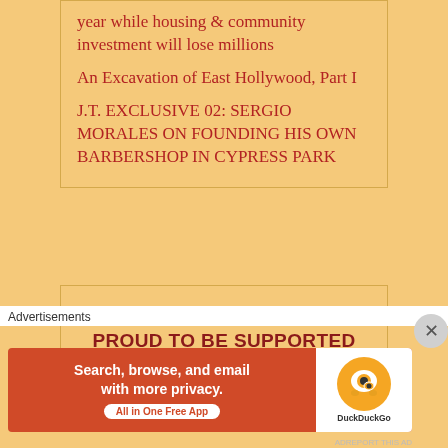year while housing & community investment will lose millions
An Excavation of East Hollywood, Part I
J.T. EXCLUSIVE 02: SERGIO MORALES ON FOUNDING HIS OWN BARBERSHOP IN CYPRESS PARK
J.T. THE L.A. STORYTELLER IS PROUD TO BE SUPPORTED BY:
Advertisements
[Figure (screenshot): DuckDuckGo advertisement banner: 'Search, browse, and email with more privacy. All in One Free App' on orange background with DuckDuckGo logo on white background.]